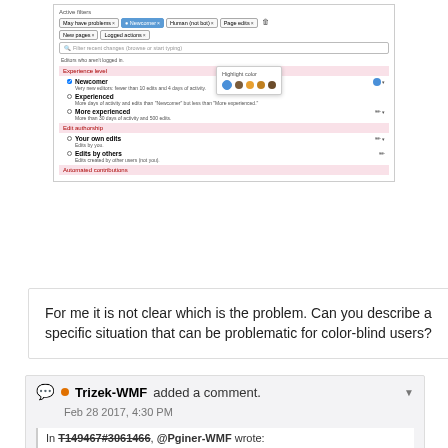[Figure (screenshot): Screenshot of a wiki Recent Changes filter interface showing Active filters (May have problems, Newcomer, Human not bot, Page edits, New pages, Logged actions), a search bar, Experience level section with Newcomer, Experienced, More experienced options, and a Highlight color popup with colored circles.]
For me it is not clear which is the problem. Can you describe a specific situation that can be problematic for color-blind users?
Trizek-WMF added a comment.
Feb 28 2017, 4:30 PM
In T149467#3061466, @Pginer-WMF wrote:
For me it is not clear which is the problem. Can you describe a specific situation that can be problematic for color-blind users?